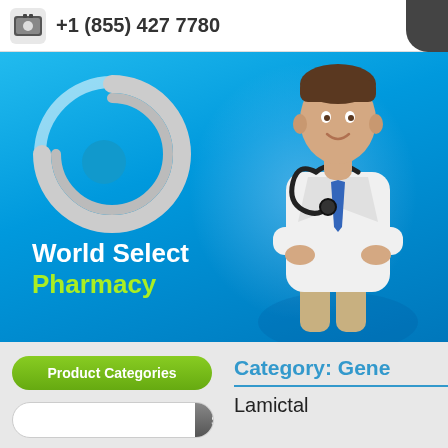+1 (855) 427 7780
[Figure (logo): World Select Pharmacy hero banner with circular green logo, blue gradient background, and a doctor in white coat with stethoscope]
Product Categories
Search
Category: Gene
Lamictal